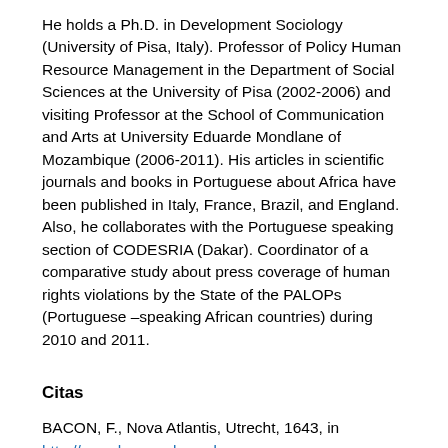He holds a Ph.D. in Development Sociology (University of Pisa, Italy). Professor of Policy Human Resource Management in the Department of Social Sciences at the University of Pisa (2002-2006) and visiting Professor at the School of Communication and Arts at University Eduarde Mondlane of Mozambique (2006-2011). His articles in scientific journals and books in Portuguese about Africa have been published in Italy, France, Brazil, and England. Also, he collaborates with the Portuguese speaking section of CODESRIA (Dakar). Coordinator of a comparative study about press coverage of human rights violations by the State of the PALOPs (Portuguese –speaking African countries) during 2010 and 2011.
Citas
BACON, F., Nova Atlantis, Utrecht, 1643, in http://www.hs-augsburg.de.
BECK, U., Risikogesellshaft, Suhrkamp, Frankfurt am Main, 1986.